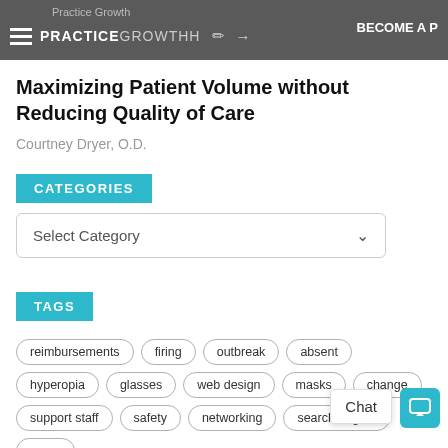Practice Growth | PRACTICEGROWTH — BECOME A P
Maximizing Patient Volume without Reducing Quality of Care
Courtney Dryer, O.D.
CATEGORIES
Select Category
TAGS
reimbursements
firing
outbreak
absent
hyperopia
glasses
web design
masks
change
support staff
safety
networking
search engine
press